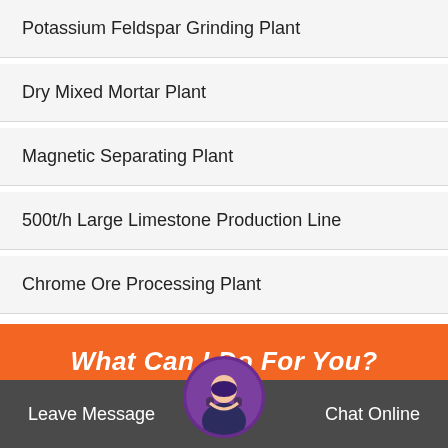Potassium Feldspar Grinding Plant
Dry Mixed Mortar Plant
Magnetic Separating Plant
500t/h Large Limestone Production Line
Chrome Ore Processing Plant
What Can I Do For You?
Productname*
Leave Message   Chat Online